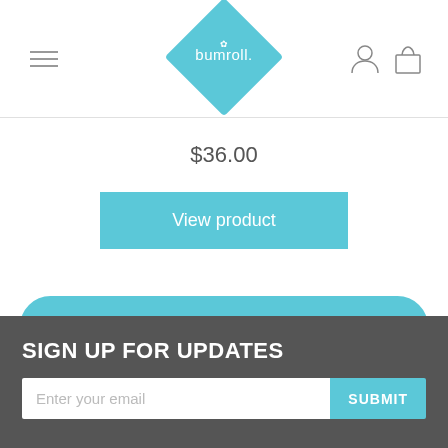bumroll logo with hamburger menu and nav icons
$36.00
View product
← Back to News
SIGN UP FOR UPDATES
Enter your email
SUBMIT